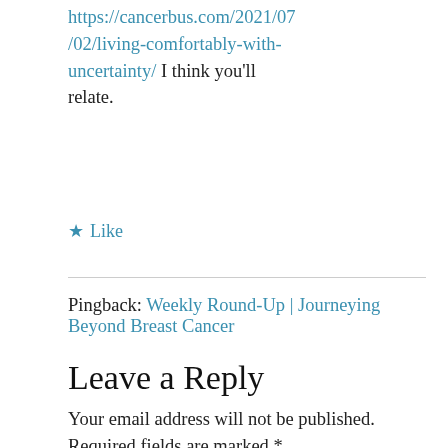https://cancerbus.com/2021/07/02/living-comfortably-with-uncertainty/ I think you'll relate.
★ Like
Pingback: Weekly Round-Up | Journeying Beyond Breast Cancer
Leave a Reply
Your email address will not be published. Required fields are marked *